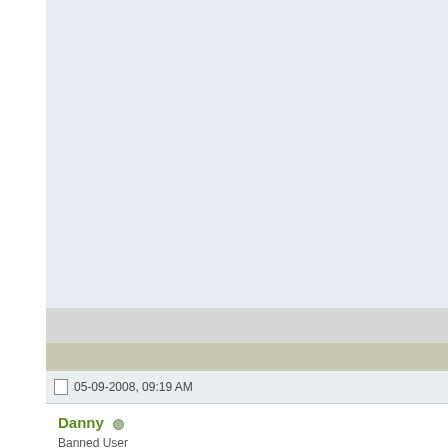05-09-2008, 09:19 AM
Danny
Banned User
Join Date: Dec 2006
Location: Crest Hill, IL
Posts: 9,486
+1: 216
Quick Na...
« FS, 95' Seadoo XP (Sa... Perfo...